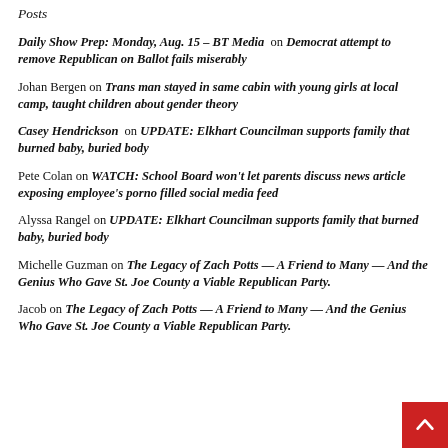Posts
Daily Show Prep: Monday, Aug. 15 – BT Media on Democrat attempt to remove Republican on Ballot fails miserably
Johan Bergen on Trans man stayed in same cabin with young girls at local camp, taught children about gender theory
Casey Hendrickson on UPDATE: Elkhart Councilman supports family that burned baby, buried body
Pete Colan on WATCH: School Board won't let parents discuss news article exposing employee's porno filled social media feed
Alyssa Rangel on UPDATE: Elkhart Councilman supports family that burned baby, buried body
Michelle Guzman on The Legacy of Zach Potts — A Friend to Many — And the Genius Who Gave St. Joe County a Viable Republican Party.
Jacob on The Legacy of Zach Potts — A Friend to Many — And the Genius Who Gave St. Joe County a Viable Republican Party.